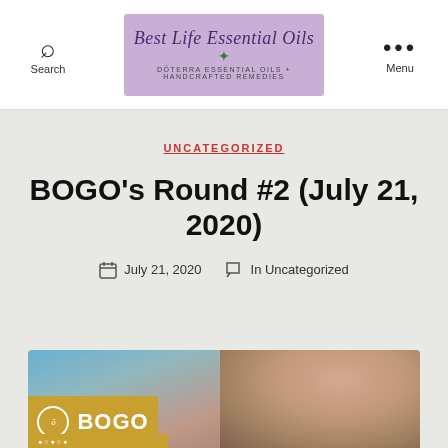Best Life Essential Oils — dōTERRA Essential Oils + Handcrafted Remedies
UNCATEGORIZED
BOGO's Round #2 (July 21, 2020)
July 21, 2020   In Uncategorized
[Figure (photo): Featured image showing a woman smiling with a BOGO promotional badge in the lower left corner on a golden/yellow background with doTERRA logo]